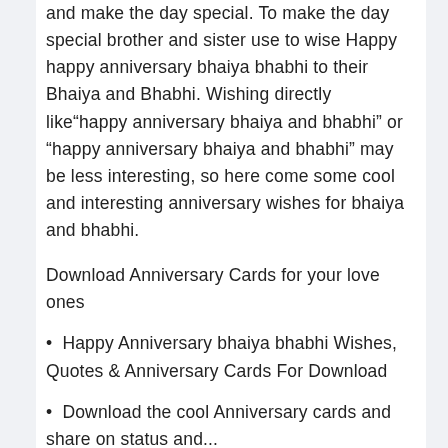and make the day special. To make the day special brother and sister use to wise Happy happy anniversary bhaiya bhabhi to their Bhaiya and Bhabhi. Wishing directly like“happy anniversary bhaiya and bhabhi” or “happy anniversary bhaiya and bhabhi” may be less interesting, so here come some cool and interesting anniversary wishes for bhaiya and bhabhi.
Download Anniversary Cards for your love ones
Happy Anniversary bhaiya bhabhi Wishes, Quotes & Anniversary Cards For Download
Download the cool Anniversary cards and share on status and...